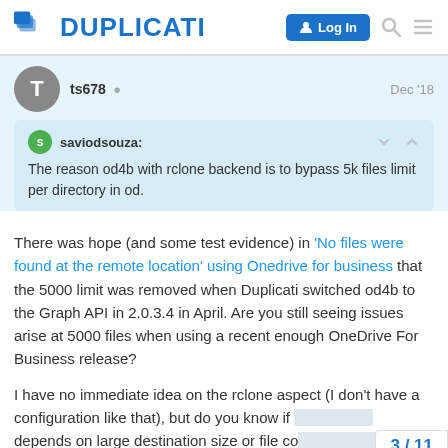DUPLICATI
ts678 · Dec '18
saviodsouza: The reason od4b with rclone backend is to bypass 5k files limit per directory in od.
There was hope (and some test evidence) in 'No files were found at the remote location' using Onedrive for business that the 5000 limit was removed when Duplicati switched od4b to the Graph API in 2.0.3.4 in April. Are you still seeing issues arise at 5000 files when using a recent enough OneDrive For Business release?
I have no immediate idea on the rclone aspect (I don't have a configuration like that), but do you know if it depends on large destination size or file co...
3 / 11